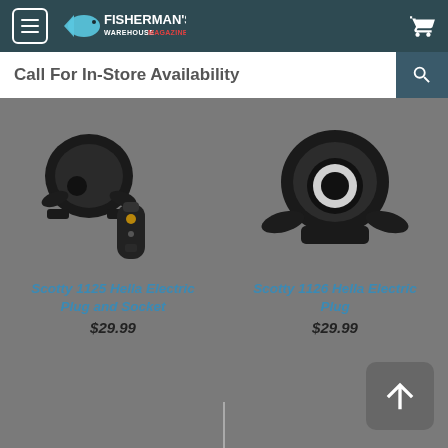Fisherman's Warehouse Magazine
Call For In-Store Availability
[Figure (photo): Scotty 1125 Hella Electric Plug and Socket product photo showing black plastic socket housing and metal plug connector]
Scotty 1125 Hella Electric Plug and Socket
$29.99
[Figure (photo): Scotty 1126 Hella Electric Plug product photo showing black plastic socket housing with white ring]
Scotty 1126 Hella Electric Plug
$29.99